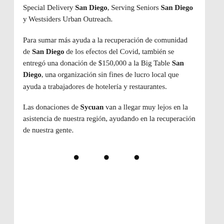Special Delivery San Diego, Serving Seniors San Diego y Westsiders Urban Outreach.
Para sumar más ayuda a la recuperación de comunidad de San Diego de los efectos del Covid, también se entregó una donación de $150,000 a la Big Table San Diego, una organización sin fines de lucro local que ayuda a trabajadores de hotelería y restaurantes.
Las donaciones de Sycuan van a llegar muy lejos en la asistencia de nuestra región, ayudando en la recuperación de nuestra gente.
[Figure (other): Three decorative dots used as a section divider]